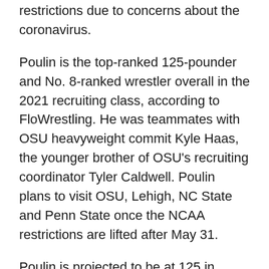restrictions due to concerns about the coronavirus.
Poulin is the top-ranked 125-pounder and No. 8-ranked wrestler overall in the 2021 recruiting class, according to FloWrestling. He was teammates with OSU heavyweight commit Kyle Haas, the younger brother of OSU's recruiting coordinator Tyler Caldwell. Poulin plans to visit OSU, Lehigh, NC State and Penn State once the NCAA restrictions are lifted after May 31.
Poulin is projected to be at 125 in college after wrestling at 133 pounds this past season. OSU has two incoming freshman at 125 with Jakason Burks and Alex Yokubaitis along with Trevor Mastrogiovanni, who could go 133 or grow into the 141 spot. Burks could move up to 133 if Poulin comes to Stillwater.